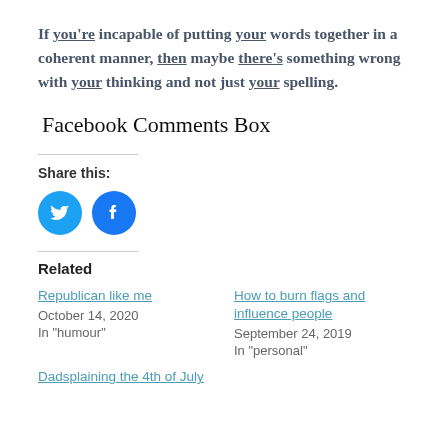If you're incapable of putting your words together in a coherent manner, then maybe there's something wrong with your thinking and not just your spelling.
Facebook Comments Box
Share this:
[Figure (illustration): Twitter and Facebook social share icon buttons (circular blue icons)]
Related
Republican like me
October 14, 2020
In "humour"
How to burn flags and influence people
September 24, 2019
In "personal"
Dadsplaining the 4th of July